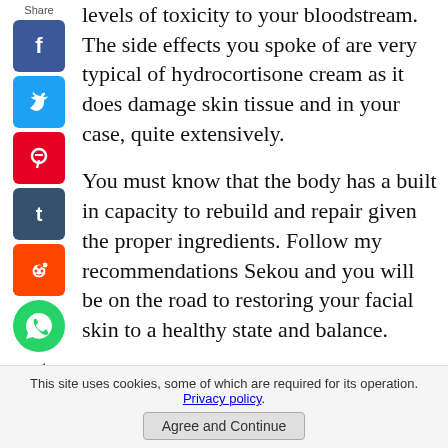[Figure (infographic): Social share sidebar with Share label and buttons: Facebook (blue), Twitter (blue), Pinterest (red), Tumblr (dark blue), Reddit (orange), WhatsApp (green circle), and a back arrow]
levels of toxicity to your bloodstream. The side effects you spoke of are very typical of hydrocortisone cream as it does damage skin tissue and in your case, quite extensively.
You must know that the body has a built in capacity to rebuild and repair given the proper ingredients. Follow my recommendations Sekou and you will be on the road to restoring your facial skin to a healthy state and balance.
This site uses cookies, some of which are required for its operation. Privacy policy. Agree and Continue